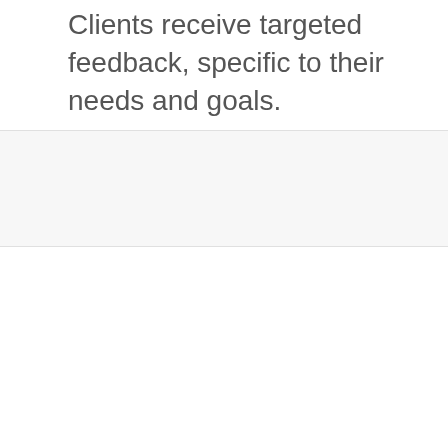Clients receive targeted feedback, specific to their needs and goals.